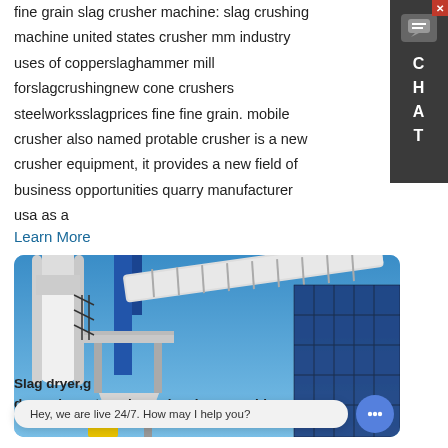fine grain slag crusher machine: slag crushing machine united states crusher mm industry uses of copperslaghammer mill forslagcrushingnew cone crushers steelworksslagprices fine fine grain. mobile crusher also named protable crusher is a new crusher equipment, it provides a new field of business opportunities quarry manufacturer usa as a
Learn More
[Figure (photo): Industrial equipment showing a white silo/tower structure with a blue conveyor belt system against a clear blue sky, with metal scaffolding and staircases visible.]
Slag dryer,g
dryer,slag rotary dryer,slay dryer machine -